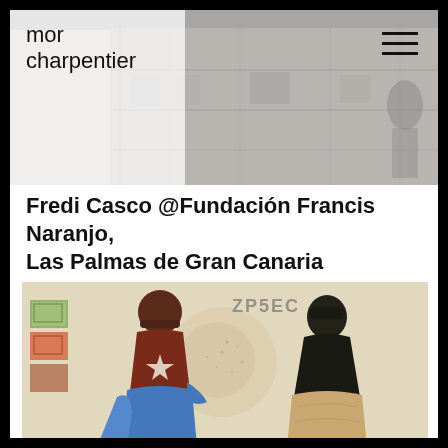[Figure (photo): Header background photo showing a grey-toned industrial or gallery interior scene with shelving or equipment, partially obscured.]
mor charpentier
Fredi Casco @Fundación Francis Naranjo, Las Palmas de Gran Canaria
[Figure (photo): Artwork image: two figures shown from behind on a beige/cream background, one wearing a blue garment with a dark red upper body and star motif, the other a dark silhouette with a tan/brown lower garment. Text 'ZP5EC' or similar written at top center. Colorful stamp-like rectangles on the left edge.]